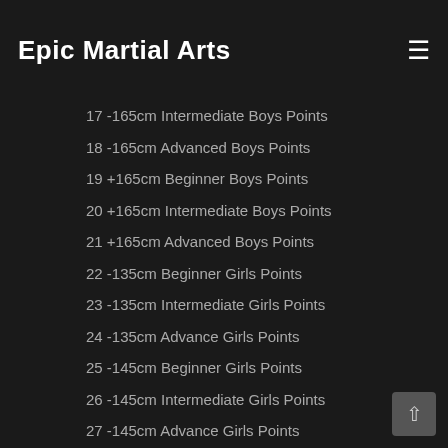Epic Martial Arts
17 -165cm Intermediate Boys Points
18 -165cm Advanced Boys Points
19 +165cm Beginner Boys Points
20 +165cm Intermediate Boys Points
21 +165cm Advanced Boys Points
22 -135cm Beginner Girls Points
23 -135cm Intermediate Girls Points
24 -135cm Advance Girls Points
25 -145cm Beginner Girls Points
26 -145cm Intermediate Girls Points
27 -145cm Advance Girls Points
28 -155cm Beginner Girls Points
29 -155cm Intermediate Girls Points
30 -155cm Advance Girls Points
31 -165cm Beginner Girls Points
32 -165cm Intermediate Girls Points